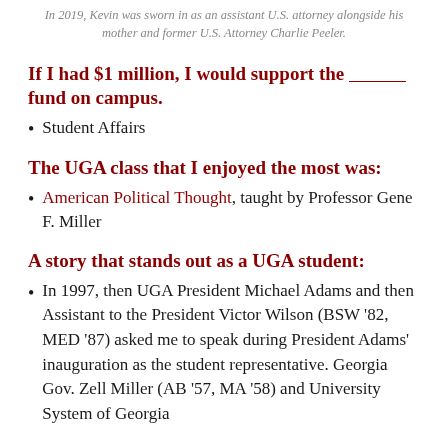In 2019, Kevin was sworn in as an assistant U.S. attorney alongside his mother and former U.S. Attorney Charlie Peeler.
If I had $1 million, I would support the ________ fund on campus.
Student Affairs
The UGA class that I enjoyed the most was:
American Political Thought, taught by Professor Gene F. Miller
A story that stands out as a UGA student:
In 1997, then UGA President Michael Adams and then Assistant to the President Victor Wilson (BSW '82, MED '87) asked me to speak during President Adams' inauguration as the student representative. Georgia Gov. Zell Miller (AB '57, MA '58) and University System of Georgia